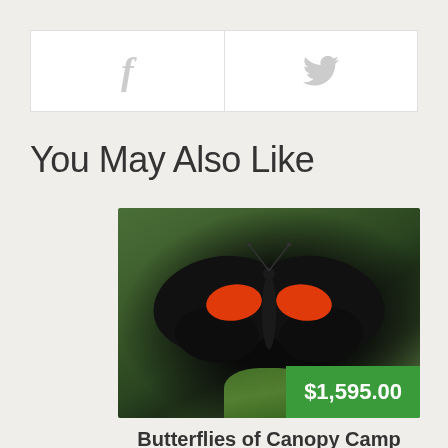[Figure (other): Social sharing bar with Facebook and Twitter icons]
You May Also Like
[Figure (photo): Photo of a black butterfly with red/orange patches perched on a green leaf, with price badge $1,595.00]
Butterflies of Canopy Camp